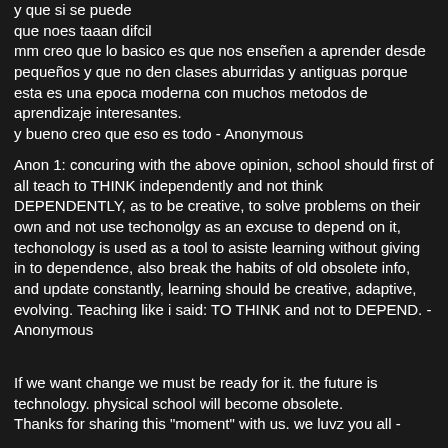y que si se puede
que noes taaan difcil
mm creo que lo basico es que nos enseñen a aprender desde pequeños y que no den clases aburridas y antiguas porque esta es una epoca moderna con muchos metodos de aprendizaje interesantes.
y bueno creo que eso es todo - Anonymous
Anon 1: concuring with the above opinion, school should first of all teach to THINK independently and not think DEPENDENTLY, as to be creative, to solve problems on their own and not use techonolgy as an excuse to depend on it, techonology is used as a tool to asiste learning without giving in to dependence, also break the habits of old obsolete info, and update constantly, learning should be creative, adaptive, evolving. Teaching like i said: TO THINK and not to DEPEND. - Anonymous
If we want change we must be ready for it. the future is technology. physical school will become obsolete.
Thanks for sharing this "moment" with us. we luvz you all -